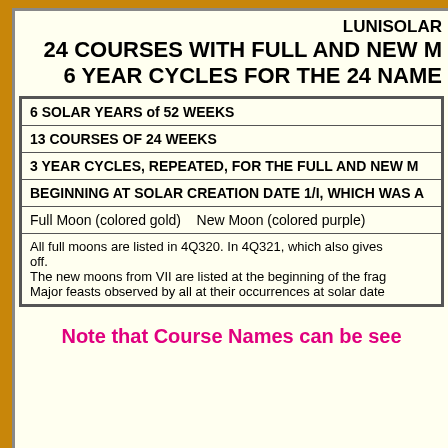LUNISOLAR 24 COURSES WITH FULL AND NEW M 6 YEAR CYCLES FOR THE 24 NAME
| 6 SOLAR YEARS of 52 WEEKS |
| 13 COURSES OF 24 WEEKS |
| 3 YEAR CYCLES, REPEATED, FOR THE FULL AND NEW M |
| BEGINNING AT SOLAR CREATION DATE 1/I, WHICH WAS A |
| Full Moon (colored gold)   New Moon (colored purple) |
| All full moons are listed in 4Q320. In 4Q321, which also gives off.
The new moons from VII are listed at the beginning of the frag
Major feasts observed by all at their occurrences at solar date |
Note that Course Names can be see